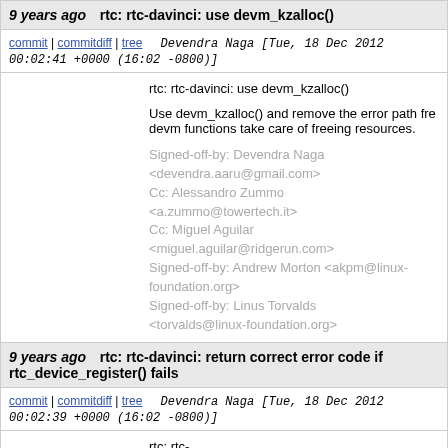9 years ago   rtc: rtc-davinci: use devm_kzalloc()
commit | commitdiff | tree   Devendra Naga [Tue, 18 Dec 2012 00:02:41 +0000 (16:02 -0800)]
rtc: rtc-davinci: use devm_kzalloc()

Use devm_kzalloc() and remove the error path fre devm functions take care of freeing resources.

Signed-off-by: Devendra Naga <devendra.aaru@gmail.com>
Cc: Alessandro Zummo <a.zummo@towertech.it>
Cc: Miguel Aguilar <miguel.aguilar@ridgerun.com>
Signed-off-by: Andrew Morton <akpm@linux-foundation.org>
Signed-off-by: Linus Torvalds <torvalds@linux-foundation.org>
9 years ago   rtc: rtc-davinci: return correct error code if rtc_device_register() fails
commit | commitdiff | tree   Devendra Naga [Tue, 18 Dec 2012 00:02:39 +0000 (16:02 -0800)]
rtc: rtc-davinci: return correct error code if rtc_device_reg